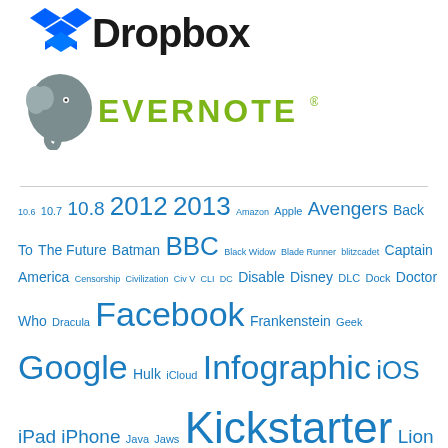[Figure (logo): Dropbox logo with blue box icon and Dropbox wordmark in black]
[Figure (logo): Evernote logo with gray elephant icon and EVERNOTE wordmark in green]
10.6 10.7 10.8 2012 2013 Amazon Apple Avengers Back To The Future Batman BBC Black Widow Blade Runner blitzcadet Captain America Censorship Civilization Civ V CLI DC Disable Disney DLC Dock Doctor Who Dracula Facebook Frankenstein Geek Google Hulk iCloud Infographic iOS iPad iPhone Java Jaws Kickstarter Lion Mac Macintosh Mac OS X Marvel Mondo MondoTees Mountain Lion Movie